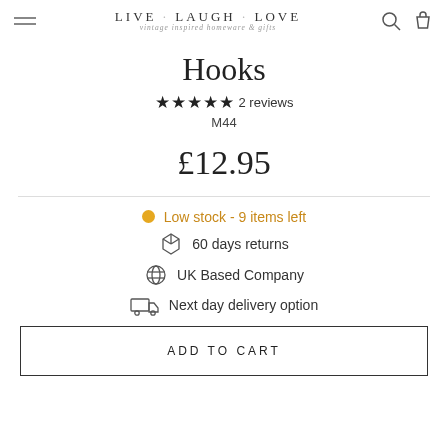LIVE·LAUGH·LOVE vintage inspired homeware & gifts
Hooks
★★★★★ 2 reviews
M44
£12.95
Low stock - 9 items left
60 days returns
UK Based Company
Next day delivery option
ADD TO CART